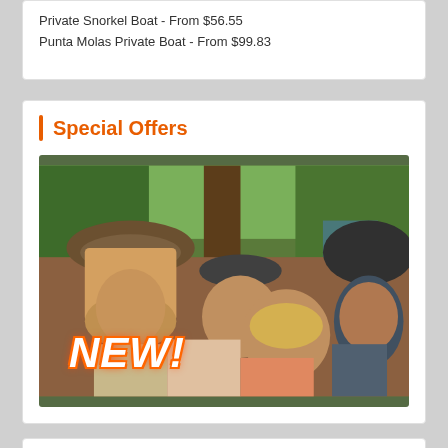Private Snorkel Boat - From $56.55
Punta Molas Private Boat - From $99.83
Special Offers
[Figure (photo): Group of four people dressed as pirates posing together and smiling, with a 'NEW!' text overlay in white with orange outline in the lower left corner.]